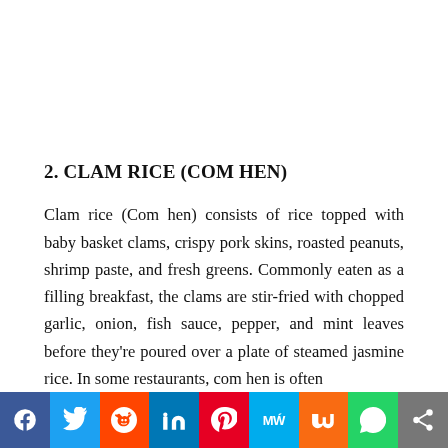2. CLAM RICE (COM HEN)
Clam rice (Com hen) consists of rice topped with baby basket clams, crispy pork skins, roasted peanuts, shrimp paste, and fresh greens. Commonly eaten as a filling breakfast, the clams are stir-fried with chopped garlic, onion, fish sauce, pepper, and mint leaves before they're poured over a plate of steamed jasmine rice. In some restaurants, com hen is often
[Figure (other): Social media sharing bar with icons: Facebook, Twitter, Reddit, LinkedIn, Pinterest, MeWe, Mix, WhatsApp, Share]